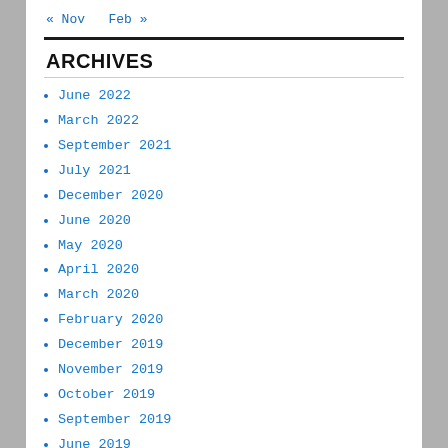« Nov   Feb »
ARCHIVES
June 2022
March 2022
September 2021
July 2021
December 2020
June 2020
May 2020
April 2020
March 2020
February 2020
December 2019
November 2019
October 2019
September 2019
June 2019
January 2019
December 2018
November 2018
October 2018